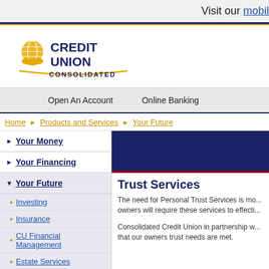Visit our mobil
[Figure (logo): Credit Union Consolidated logo with globe and hands icon in gold, text CREDIT UNION in dark navy blue, CONSOLIDATED below in navy]
Open An Account    Online Banking
Home ▶ Products and Services ▶ Your Future
▶ Your Money
▶ Your Financing
▼ Your Future
• Investing
• Insurance
• CU Financial Management
• Estate Services
▶ Your Business
[Figure (photo): Dark navy blue banner image for Trust Services section]
Trust Services
The need for Personal Trust Services is mo... owners will require these services to effecti...
Consolidated Credit Union in partnership w... that our owners trust needs are met.